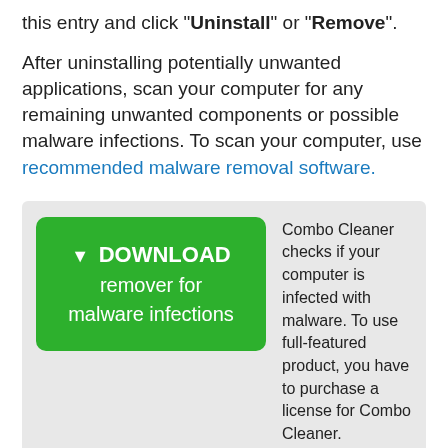this entry and click "Uninstall" or "Remove".
After uninstalling potentially unwanted applications, scan your computer for any remaining unwanted components or possible malware infections. To scan your computer, use recommended malware removal software.
[Figure (other): Download button box: green rounded button labeled '▼ DOWNLOAD remover for malware infections' with side text: 'Combo Cleaner checks if your computer is infected with malware. To use full-featured product, you have to purchase a license for Combo Cleaner. 7 days free trial available. Combo Cleaner is owned and operated by Rcs Lt, the parent company of PCRisk.com read more.']
Remove malicious extensions/plug-ins from Internet browsers: